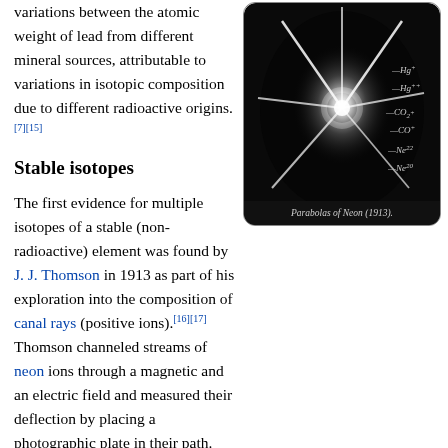variations between the atomic weight of lead from different mineral sources, attributable to variations in isotopic composition due to different radioactive origins.[7][15]
[Figure (photo): Historical photograph titled 'Parabolas of Neon (1913)' showing bright parabolic streaks on a dark photographic plate, with labels for Hg+, Hg++, CO2+, CO+, Ne22, Ne20 on the right side.]
Parabolas of Neon (1913).
Stable isotopes
The first evidence for multiple isotopes of a stable (non-radioactive) element was found by J. J. Thomson in 1913 as part of his exploration into the composition of canal rays (positive ions).[16][17] Thomson channeled streams of neon ions through a magnetic and an electric field and measured their deflection by placing a photographic plate in their path. Each stream created a glowing patch on the plate at the point it struck. Thomson observed two separate patches of light on the photographic plate (see image), which suggested two different parabolas of deflection. Thomson eventually concluded that some